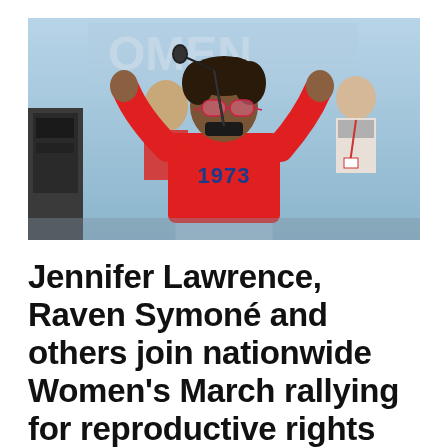[Figure (photo): A woman wearing a red sweatshirt with '1973' printed on it stands at a clear lectern with a microphone, arms raised above her head. She wears pink sunglasses and a black mask pulled down around her neck. Other people are visible in the background at what appears to be an outdoor rally or march event.]
Jennifer Lawrence, Raven Symoné and others join nationwide Women's March rallying for reproductive rights